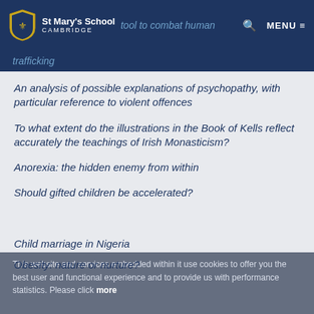St Mary's School Cambridge — tool to combat human trafficking
An analysis of possible explanations of psychopathy, with particular reference to violent offences
To what extent do the illustrations in the Book of Kells reflect accurately the teachings of Irish Monasticism?
Anorexia: the hidden enemy from within
Should gifted children be accelerated?
Child marriage in Nigeria
Obesity: nature or nurture?
This website and services embedded within it use cookies to offer you the best user and functional experience and to provide us with performance statistics. Please click more to inform yourself of all the details.